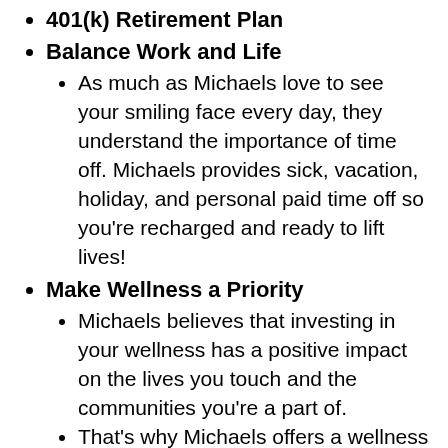401(k) Retirement Plan
Balance Work and Life
As much as Michaels love to see your smiling face every day, they understand the importance of time off. Michaels provides sick, vacation, holiday, and personal paid time off so you're recharged and ready to lift lives!
Make Wellness a Priority
Michaels believes that investing in your wellness has a positive impact on the lives you touch and the communities you're a part of.
That's why Michaels offers a wellness rewards program for both you and